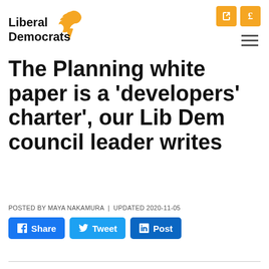[Figure (logo): Liberal Democrats logo — yellow bird/flame icon with text 'Liberal Democrats' in black]
The Planning white paper is a 'developers' charter', our Lib Dem council leader writes
POSTED BY MAYA NAKAMURA | UPDATED 2020-11-05
[Figure (infographic): Three social share buttons: Facebook Share, Twitter Tweet, LinkedIn Post]